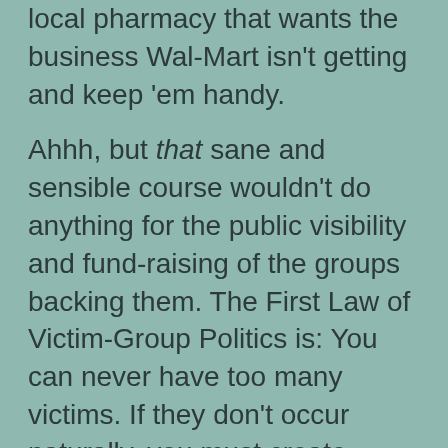local pharmacy that wants the business Wal-Mart isn't getting and keep 'em handy.
Ahhh, but that sane and sensible course wouldn't do anything for the public visibility and fund-raising of the groups backing them. The First Law of Victim-Group Politics is: You can never have too many victims. If they don't occur naturally, you must create them.
Bringing up the rear, and the worst of the lot, is